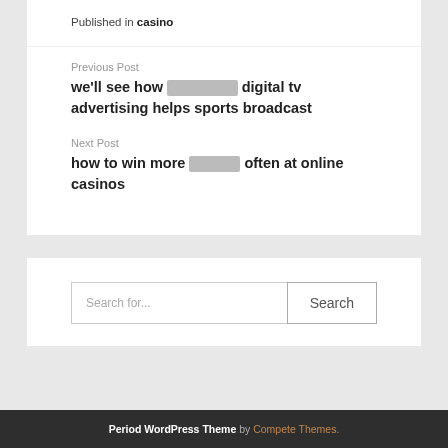Published in casino
Previous Post
we'll see how ░░░░░░░ digital tv advertising helps sports broadcast
Next Post
how to win more ░░░░░ often at online casinos
Search for...
Period WordPress Theme by Compete Themes.